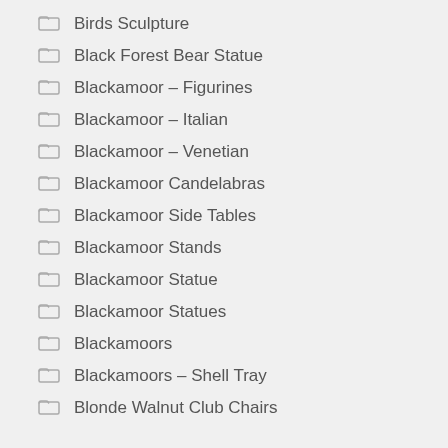Birds Sculpture
Black Forest Bear Statue
Blackamoor – Figurines
Blackamoor – Italian
Blackamoor – Venetian
Blackamoor Candelabras
Blackamoor Side Tables
Blackamoor Stands
Blackamoor Statue
Blackamoor Statues
Blackamoors
Blackamoors – Shell Tray
Blonde Walnut Club Chairs